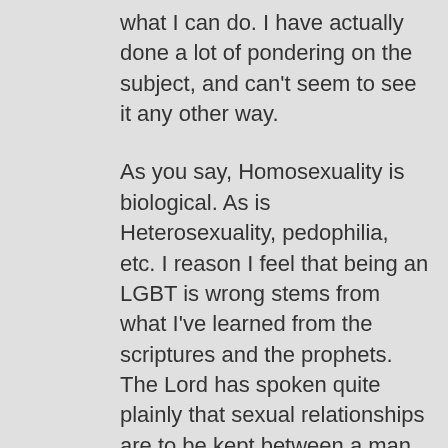what I can do. I have actually done a lot of pondering on the subject, and can't seem to see it any other way.
As you say, Homosexuality is biological. As is Heterosexuality, pedophilia, etc. I reason I feel that being an LGBT is wrong stems from what I've learned from the scriptures and the prophets. The Lord has spoken quite plainly that sexual relationships are to be kept between a man and a woman who are legally and lawfully wedded. If there's any question